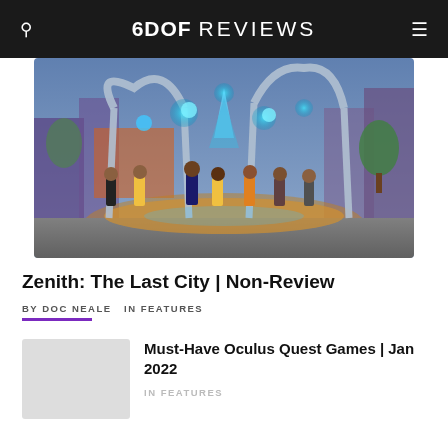6DOF REVIEWS
[Figure (screenshot): Screenshot from Zenith: The Last City VR game showing animated characters gathered around a glowing sci-fi structure with blue energy orbs in a futuristic outdoor environment]
Zenith: The Last City | Non-Review
BY DOC NEALE  IN FEATURES
[Figure (screenshot): Thumbnail image placeholder for Must-Have Oculus Quest Games article]
Must-Have Oculus Quest Games | Jan 2022
IN FEATURES